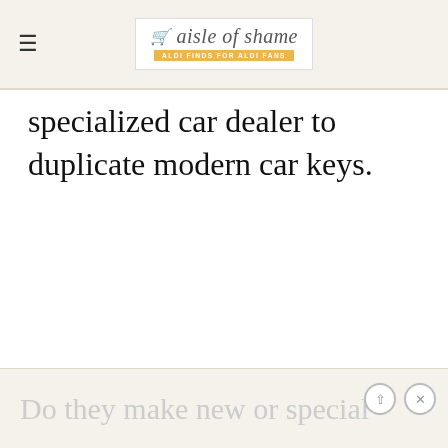≡ aisle of shame — ALDI FINDS FOR ALDI FANS
specialized car dealer to duplicate modern car keys.
Do they make new or special